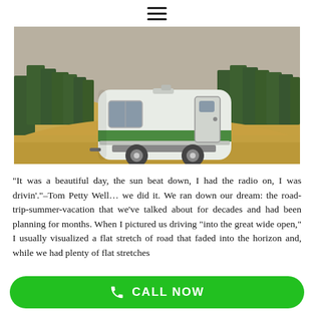[Figure (photo): A white and green travel trailer/caravan parked on a grassy hillside with pine tree forests in the background under an overcast sky.]
“It was a beautiful day, the sun beat down, I had the radio on, I was drivin’.”-Tom Petty Well… we did it. We ran down our dream: the road-trip-summer-vacation that we’ve talked about for decades and had been planning for months. When I pictured us driving “into the great wide open,” I usually visualized a flat stretch of road that faded into the horizon and, while we had plenty of flat stretches
CALL NOW